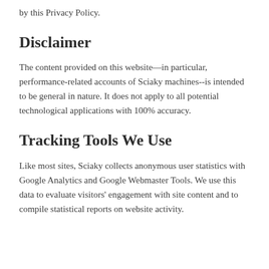by this Privacy Policy.
Disclaimer
The content provided on this website—in particular, performance-related accounts of Sciaky machines--is intended to be general in nature. It does not apply to all potential technological applications with 100% accuracy.
Tracking Tools We Use
Like most sites, Sciaky collects anonymous user statistics with Google Analytics and Google Webmaster Tools. We use this data to evaluate visitors' engagement with site content and to compile statistical reports on website activity.